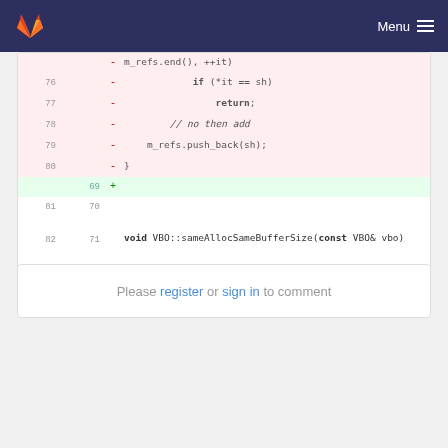Menu
[Figure (screenshot): Code diff showing deleted lines 76-80 with if (*it == sh) return; // no then add m_refs.push_back(sh); } and added empty line 69, plus normal lines 81-83/70-72 showing void VBO::sameAllocSameBufferSize(const VBO& vbo) {]
Please register or sign in to comment